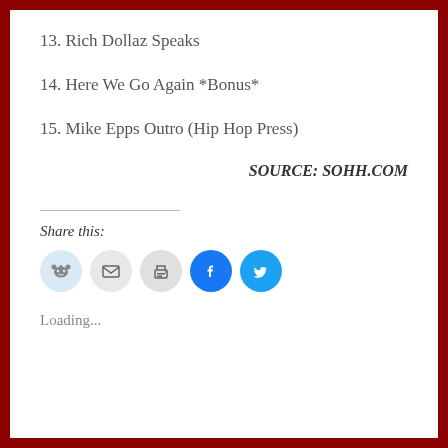13. Rich Dollaz Speaks
14. Here We Go Again *Bonus*
15. Mike Epps Outro (Hip Hop Press)
SOURCE: SOHH.COM
Share this:
[Figure (other): Social share icons: Reddit, Email, Print, Facebook, Twitter]
Loading...